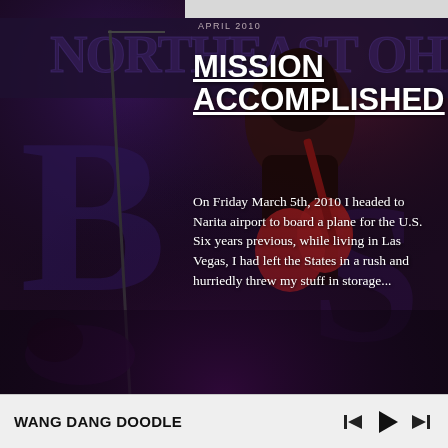[Figure (photo): A guitarist performing on stage in front of a banner reading 'Northeast Ohio'. The scene is dimly lit with blue and purple tones.]
APRIL 2010
MISSION ACCOMPLISHED
On Friday March 5th, 2010 I headed to Narita airport to board a plane for the U.S. Six years previous, while living in Las Vegas, I had left the States in a rush and hurriedly threw my stuff in storage...
Read more
WANG DANG DOODLE